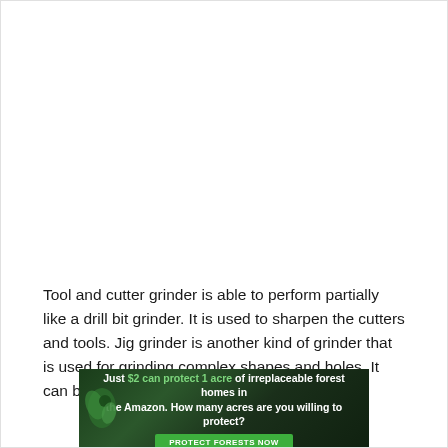Tool and cutter grinder is able to perform partially like a drill bit grinder. It is used to sharpen the cutters and tools. Jig grinder is another kind of grinder that is used for grinding complex shapes and holes. It can be used for complex surface grinding
[Figure (photo): Advertisement banner with dark green forest background. Text reads: 'Just $2 can protect 1 acre of irreplaceable forest homes in the Amazon. How many acres are you willing to protect?' with a green 'PROTECT FORESTS NOW' button and a small bird/leaf illustration on the left.]